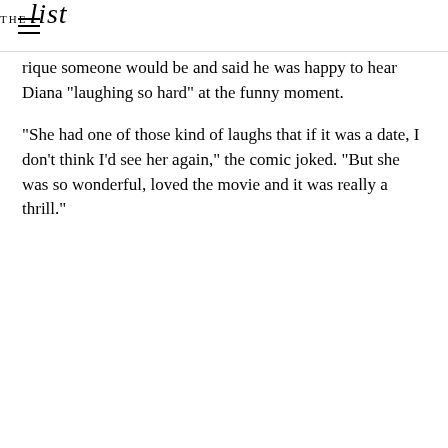THE list
rique someone would be and said he was happy to hear Diana "laughing so hard" at the funny moment.
"She had one of those kind of laughs that if it was a date, I don't think I'd see her again," the comic joked. "But she was so wonderful, loved the movie and it was really a thrill."